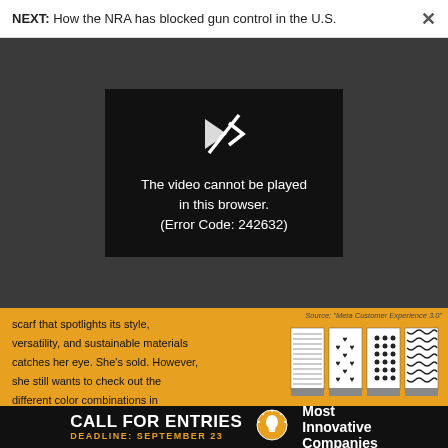NEXT: How the NRA has blocked gun control in the U.S.
[Figure (screenshot): Video player showing error: The video cannot be played in this browser. (Error Code: 242632)]
scarf that spotlights its style, versatility, and sustainable materials catches her eye. She's sold. However, she still wants to check out the different color combinations in person. A quick link to the brand's site shows her where to find nearby retailers. A day later, she swings by the store, compares the options, and... mission accomplished.
[Figure (illustration): Four fabric swatch pattern swatches in black and white on orange background]
Source: "Meta Customer Experience 3.0"
CALL FOR ENTRIES DEADLINE: SEPTEMBER 23 Most Innovative Companies